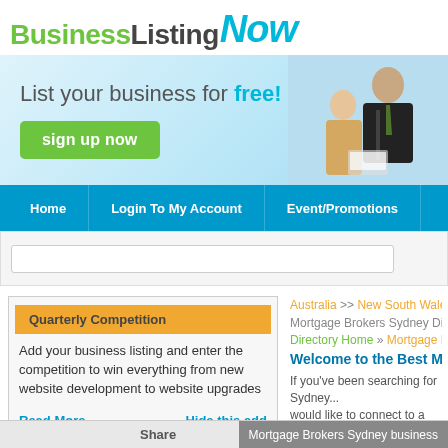[Figure (logo): BusinessListingNow logo with green 'Business', dark 'Listing', and cyan italic 'Now' text]
[Figure (infographic): Banner with 'List your business for free!' headline, green sign up now button, and photo of two business people]
Home | Login To My Account | Event/Promotions
Quarterly Competition - Add your business listing and enter the competition to win everything from new website development to website upgrades
Read More...   Hide this add
Australia >> New South Wales >> Syd...
Mortgage Brokers Sydney Directory listi...
Directory Home » Mortgage Brokers...
Welcome to the Best Mortgage Br...
If you've been searching for Sydney... would like to connect to a greater au... Mortgage Brokers Sydney business...
Share